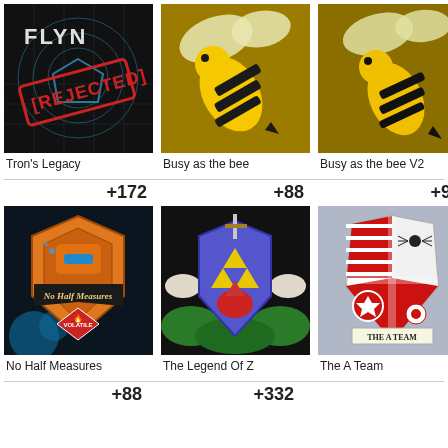[Figure (illustration): Tron's Legacy image with REJECTED stamp overlay on dark background]
Tron's Legacy
[Figure (illustration): Cartoon honeybee on golden/brown background]
Busy as the bee
[Figure (illustration): Cartoon honeybee V2 on golden/brown background]
Busy as the bee V2
+172
[Figure (illustration): No Half Measures badge illustration with volatile warning diamond]
No Half Measures
+88
[Figure (illustration): The Legend Of Z heraldic shield with Triforce and dragon motif]
The Legend Of Z
+95
[Figure (illustration): The A Team heraldic coat of arms shield with red and white sections]
The A Team